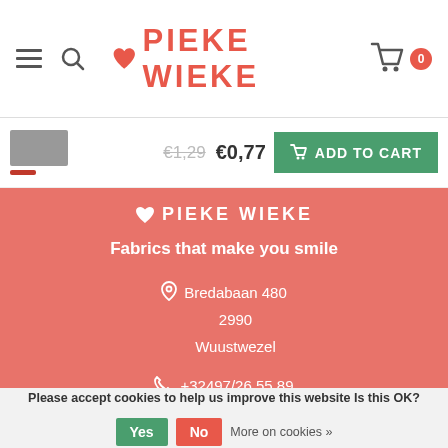PIEKE WIEKE — navigation header with hamburger, search, logo, cart
€1,29  €0,77  ADD TO CART
♥ PIEKE WIEKE
Fabrics that make you smile
📍 Bredabaan 480
2990
Wuustwezel
📞 +32497/26.55.89
💬 0497265589
✉ info@piekewieke.be
Please accept cookies to help us improve this website Is this OK?  Yes  No  More on cookies »